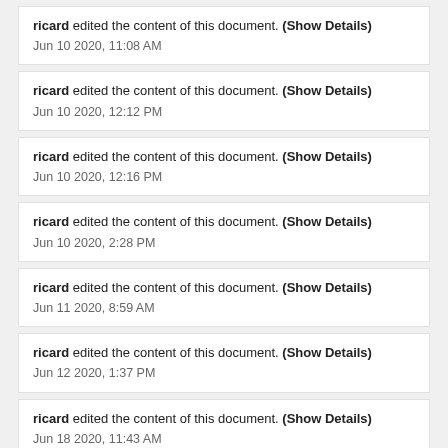ricard edited the content of this document. (Show Details)
Jun 10 2020, 11:08 AM
ricard edited the content of this document. (Show Details)
Jun 10 2020, 12:12 PM
ricard edited the content of this document. (Show Details)
Jun 10 2020, 12:16 PM
ricard edited the content of this document. (Show Details)
Jun 10 2020, 2:28 PM
ricard edited the content of this document. (Show Details)
Jun 11 2020, 8:59 AM
ricard edited the content of this document. (Show Details)
Jun 12 2020, 1:37 PM
ricard edited the content of this document. (Show Details)
Jun 18 2020, 11:43 AM
ricard edited the content of this document. (Show Details)
Jun 18 2020, 11:50 AM
ricard edited the content of this document. (Show Details)